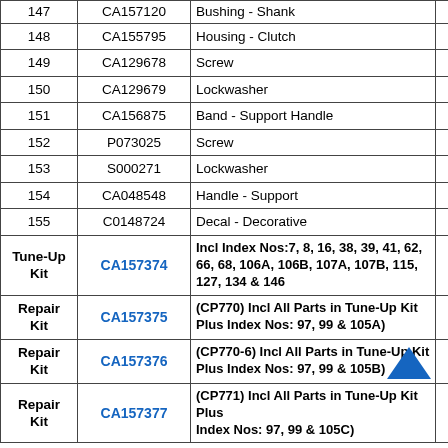| Index | Part No. | Description | Qty |
| --- | --- | --- | --- |
| 147 | CA157120 | Bushing - Shank | 1 |
| 148 | CA155795 | Housing - Clutch | 1 |
| 149 | CA129678 | Screw | 8 |
| 150 | CA129679 | Lockwasher | 8 |
| 151 | CA156875 | Band - Support Handle | 1 |
| 152 | P073025 | Screw | 4 |
| 153 | S000271 | Lockwasher | 4 |
| 154 | CA048548 | Handle - Support | 1 |
| 155 | C0148724 | Decal - Decorative | 1 |
| Tune-Up Kit | CA157374 | Incl Index Nos:7, 8, 16, 38, 39, 41, 62, 66, 68, 106A, 106B, 107A, 107B, 115, 127, 134 & 146 |  |
| Repair Kit | CA157375 | (CP770) Incl All Parts in Tune-Up Kit Plus Index Nos: 97, 99 & 105A) |  |
| Repair Kit | CA157376 | (CP770-6) Incl All Parts in Tune-Up Kit Plus Index Nos: 97, 99 & 105B) |  |
| Repair Kit | CA157377 | (CP771) Incl All Parts in Tune-Up Kit Plus Index Nos: 97, 99 & 105C) |  |